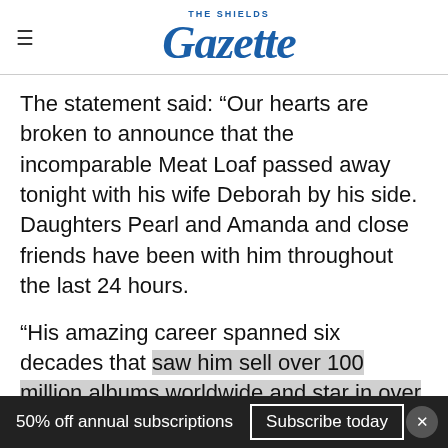THE SHIELDS Gazette
The statement said: “Our hearts are broken to announce that the incomparable Meat Loaf passed away tonight with his wife Deborah by his side. Daughters Pearl and Amanda and close friends have been with him throughout the last 24 hours.
“His amazing career spanned six decades that saw him sell over 100 million albums worldwide and star in over 65 movies, including Fight Club,
50% off annual subscriptions   Subscribe today   ×